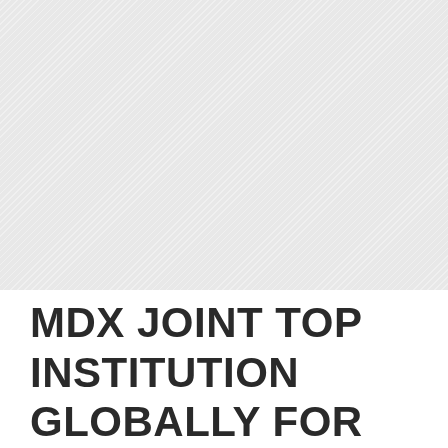[Figure (photo): Large image placeholder area with diagonal hatching pattern, light gray background]
MDX JOINT TOP INSTITUTION GLOBALLY FOR WORK-BASED LEARNING RESEARCH, STUDY FINDS